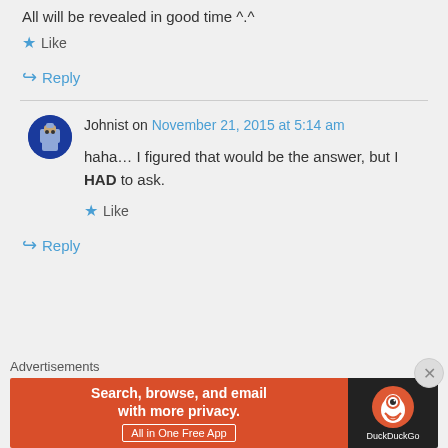All will be revealed in good time ^.^
Like
Reply
Johnist on November 21, 2015 at 5:14 am
haha… I figured that would be the answer, but I HAD to ask.
Like
Reply
Advertisements
[Figure (screenshot): DuckDuckGo advertisement banner: orange left side with text 'Search, browse, and email with more privacy. All in One Free App' and dark right side with DuckDuckGo duck logo]